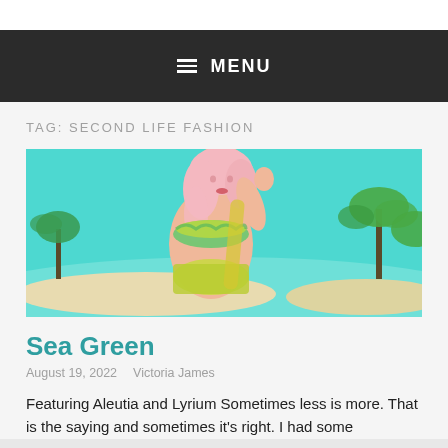MENU
TAG: SECOND LIFE FASHION
[Figure (illustration): Digital illustration of a blonde avatar woman in a green and yellow tie-dye bikini on a tropical beach with palm trees and turquoise water]
Sea Green
August 19, 2022   Victoria James
Featuring Aleutia and Lyrium Sometimes less is more. That is the saying and sometimes it's right. I had some